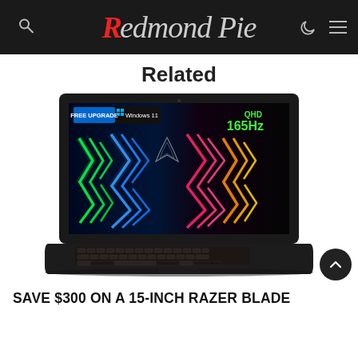Redmond Pie
Related
[Figure (photo): Razer Blade 15-inch gaming laptop open, showing a colorful screen with chevron light streaks, QHD 165Hz label in green top right, FREE UPGRADE Windows 11 badge top left, Razer logo center screen, black keyboard with orange backlight.]
SAVE $300 ON A 15-INCH RAZER BLADE